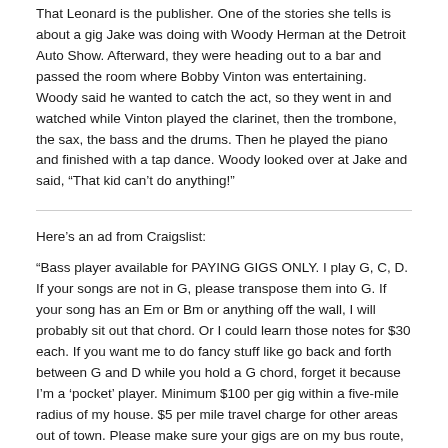That Leonard is the publisher. One of the stories she tells is about a gig Jake was doing with Woody Herman at the Detroit Auto Show. Afterward, they were heading out to a bar and passed the room where Bobby Vinton was entertaining. Woody said he wanted to catch the act, so they went in and watched while Vinton played the clarinet, then the trombone, the sax, the bass and the drums. Then he played the piano and finished with a tap dance. Woody looked over at Jake and said, "That kid can't do anything!"
Here's an ad from Craigslist:
"Bass player available for PAYING GIGS ONLY. I play G, C, D. If your songs are not in G, please transpose them into G. If your song has an Em or Bm or anything off the wall, I will probably sit out that chord. Or I could learn those notes for $30 each. If you want me to do fancy stuff like go back and forth between G and D while you hold a G chord, forget it because I'm a 'pocket' player. Minimum $100 per gig within a five-mile radius of my house. $5 per mile travel charge for other areas out of town. Please make sure your gigs are on my bus route, or you can pick me up at my place. Must be home by 11 p.m. due to previous legal hassles. No gigs within 500 yards of schools, parks or playgrounds."